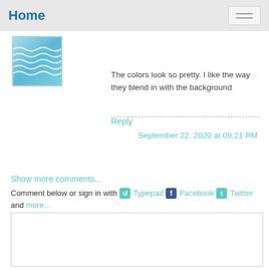Home
[Figure (illustration): Avatar thumbnail showing blue wave/water pattern]
The colors look so pretty. I like the way they blend in with the background
Reply
September 22, 2020 at 09:21 PM
Show more comments...
Comment below or sign in with Typepad Facebook Twitter and more...
[Figure (other): Empty comment text area input box]